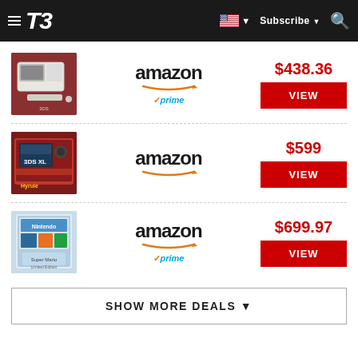T3 | Subscribe
[Figure (screenshot): Product image of Nintendo 3DS console on red fabric]
amazon prime $438.36 VIEW
[Figure (screenshot): Product image of red Nintendo 3DS console bundle]
amazon $599 VIEW
[Figure (screenshot): Product image of Nintendo 3DS bundle box with colorful packaging]
amazon prime $699.97 VIEW
SHOW MORE DEALS ▼